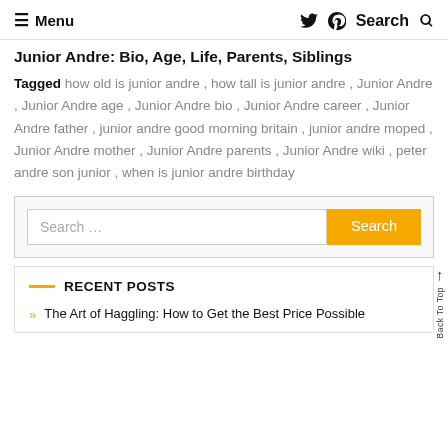≡ Menu  🐦 🅟  Search 🔍
Junior Andre: Bio, Age, Life, Parents, Siblings
Tagged how old is junior andre , how tall is junior andre , Junior Andre , Junior Andre age , Junior Andre bio , Junior Andre career , Junior Andre father , junior andre good morning britain , junior andre moped , Junior Andre mother , Junior Andre parents , Junior Andre wiki , peter andre son junior , when is junior andre birthday
[Figure (screenshot): Search input box with Search button]
RECENT POSTS
The Art of Haggling: How to Get the Best Price Possible